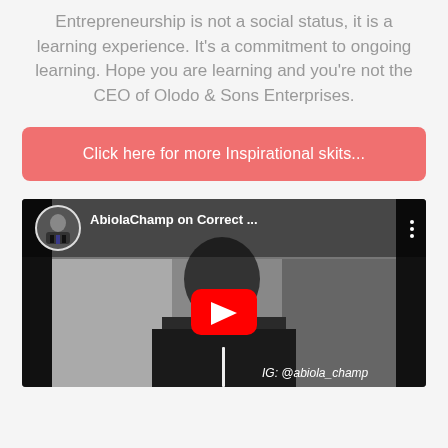Entrepreneurship is not a social status, it is a learning experience. It's a commitment to ongoing learning. Hope you are learning and you're not the CEO of Olodo & Sons Enterprises.
Click here for more Inspirational skits...
[Figure (screenshot): YouTube video embed showing AbiolaChamp on Correct ... with a man in a black and white video frame, YouTube play button overlay, and IG: @abiola_champ watermark]